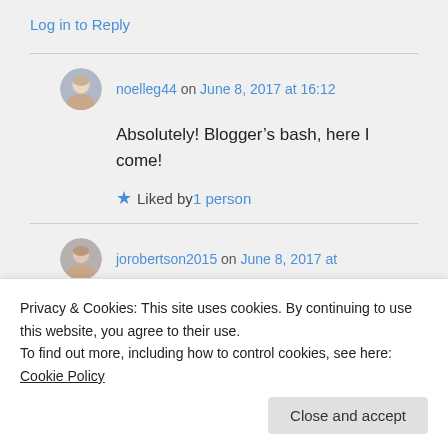Log in to Reply
noelleg44 on June 8, 2017 at 16:12
Absolutely! Blogger's bash, here I come!
Liked by 1 person
jorobertson2015 on June 8, 2017 at
Privacy & Cookies: This site uses cookies. By continuing to use this website, you agree to their use.
To find out more, including how to control cookies, see here: Cookie Policy
Close and accept